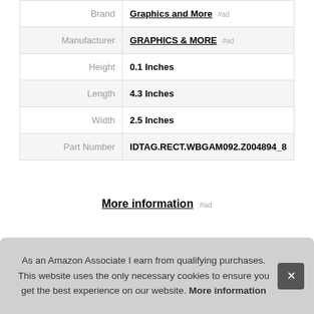|  |  |
| --- | --- |
| Brand | Graphics and More #ad |
| Manufacturer | GRAPHICS & MORE #ad |
| Height | 0.1 Inches |
| Length | 4.3 Inches |
| Width | 2.5 Inches |
| Part Number | IDTAG.RECT.WBGAM092.Z004894_8 |
More information #ad
Tags
Gra
As an Amazon Associate I earn from qualifying purchases. This website uses the only necessary cookies to ensure you get the best experience on our website. More information